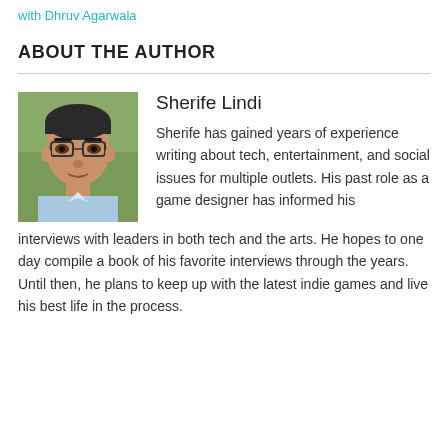with Dhruv Agarwala
ABOUT THE AUTHOR
[Figure (photo): Headshot photo of Sherife Lindi, an Asian man wearing glasses and a light blue shirt, photographed outdoors with green foliage in the background.]
Sherife Lindi
Sherife has gained years of experience writing about tech, entertainment, and social issues for multiple outlets. His past role as a game designer has informed his interviews with leaders in both tech and the arts. He hopes to one day compile a book of his favorite interviews through the years. Until then, he plans to keep up with the latest indie games and live his best life in the process.